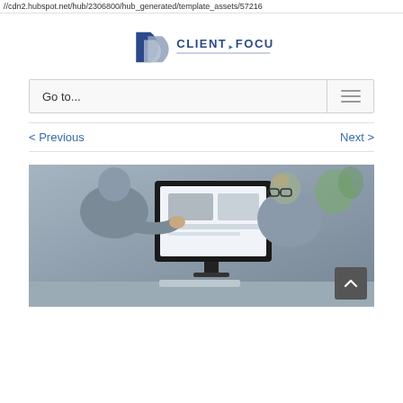//cdn2.hubspot.net/hub/2306800/hub_generated/template_assets/57216
[Figure (logo): Client Focus logo with stylized face graphic and text 'CLIENT FOCUS']
Go to...
< Previous    Next >
[Figure (photo): Two people at a computer monitor, one pointing at the screen, office/professional setting]